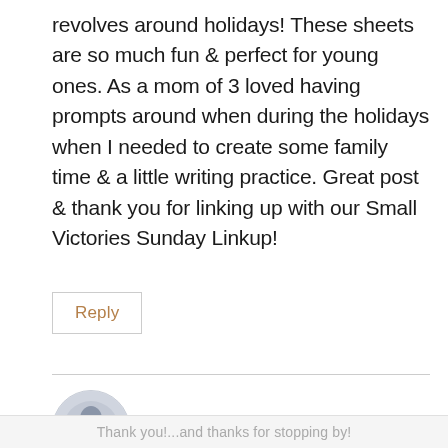revolves around holidays! These sheets are so much fun & perfect for young ones. As a mom of 3 loved having prompts around when during the holidays when I needed to create some family time & a little writing practice. Great post & thank you for linking up with our Small Victories Sunday Linkup!
Reply
Meeghan Mousaw says:
Thank you!...and thanks for stopping by!